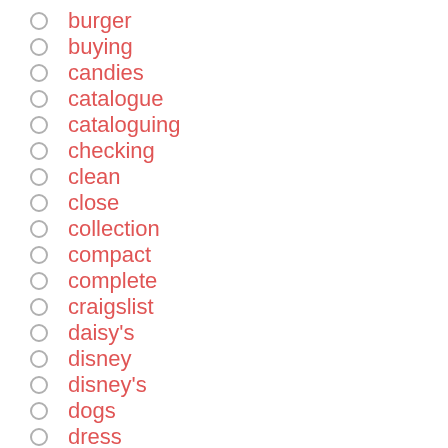burger
buying
candies
catalogue
cataloguing
checking
clean
close
collection
compact
complete
craigslist
daisy's
disney
disney's
dogs
dress
ebay
elusive